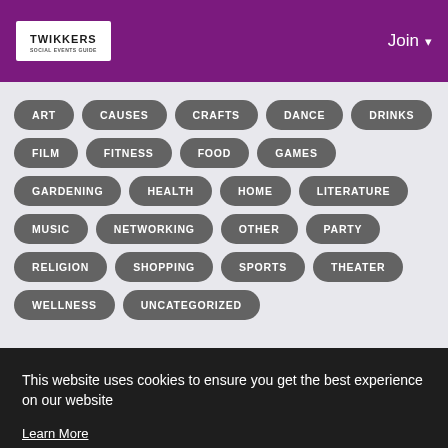TWIKKERS | Join
ART
CAUSES
CRAFTS
DANCE
DRINKS
FILM
FITNESS
FOOD
GAMES
GARDENING
HEALTH
HOME
LITERATURE
MUSIC
NETWORKING
OTHER
PARTY
RELIGION
SHOPPING
SPORTS
THEATER
WELLNESS
UNCATEGORIZED
This website uses cookies to ensure you get the best experience on our website
Learn More
Got It!